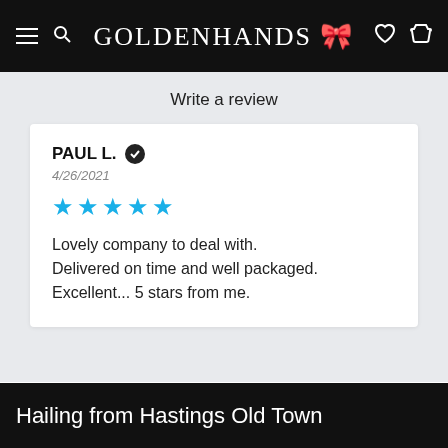GOLDENHANDS
Write a review
PAUL L. ✓
4/26/2021
★★★★★
Lovely company to deal with.
Delivered on time and well packaged. Excellent... 5 stars from me.
Hailing from Hastings Old Town